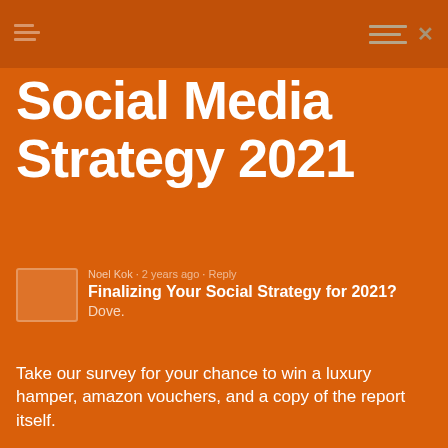Social Media Strategy 2021
Finalizing Your Social Strategy for 2021? Dove.
Noel Kok  2 years ago  Reply
Take our survey for your chance to win a luxury hamper, amazon vouchers, and a copy of the report itself.
[Figure (screenshot): Enter your name here... input field]
I am looking for examples for branded
[Figure (screenshot): Enter your email address here input field]